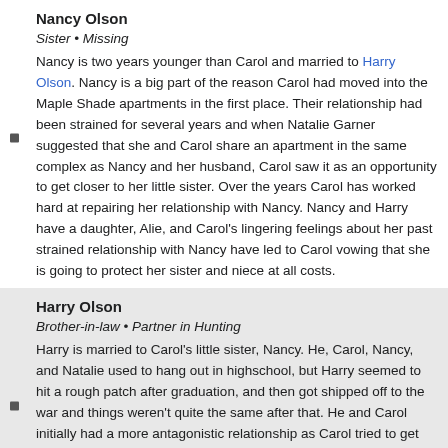Nancy Olson
Sister • Missing
Nancy is two years younger than Carol and married to Harry Olson. Nancy is a big part of the reason Carol had moved into the Maple Shade apartments in the first place. Their relationship had been strained for several years and when Natalie Garner suggested that she and Carol share an apartment in the same complex as Nancy and her husband, Carol saw it as an opportunity to get closer to her little sister. Over the years Carol has worked hard at repairing her relationship with Nancy. Nancy and Harry have a daughter, Alie, and Carol's lingering feelings about her past strained relationship with Nancy have led to Carol vowing that she is going to protect her sister and niece at all costs.
Harry Olson
Brother-in-law • Partner in Hunting
Harry is married to Carol's little sister, Nancy. He, Carol, Nancy, and Natalie used to hang out in highschool, but Harry seemed to hit a rough patch after graduation, and then got shipped off to the war and things weren't quite the same after that. He and Carol initially had a more antagonistic relationship as Carol tried to get him to straighten his life out and be a good husband and father to her sister and niece, but after the events at Maple Shade in 1976, Harry and Carol began to trust and rely on each other more as they partnered in hunting the supernatural